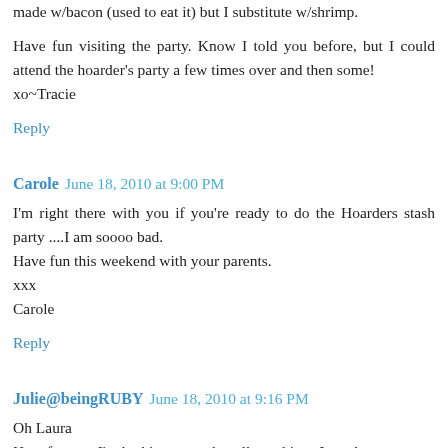made w/bacon (used to eat it) but I substitute w/shrimp.
Have fun visiting the party. Know I told you before, but I could attend the hoarder's party a few times over and then some!
xo~Tracie
Reply
Carole  June 18, 2010 at 9:00 PM
I'm right there with you if you're ready to do the Hoarders stash party ....I am soooo bad.
Have fun this weekend with your parents.
xxx
Carole
Reply
Julie@beingRUBY  June 18, 2010 at 9:16 PM
Oh Laura
How funny... I'm looking around at all my things I need to